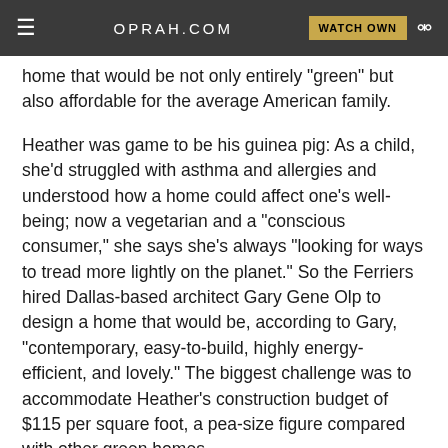OPRAH.COM | WATCH OWN
home that would be not only entirely "green" but also affordable for the average American family.
Heather was game to be his guinea pig: As a child, she'd struggled with asthma and allergies and understood how a home could affect one's well-being; now a vegetarian and a "conscious consumer," she says she's always "looking for ways to tread more lightly on the planet." So the Ferriers hired Dallas-based architect Gary Gene Olp to design a home that would be, according to Gary, "contemporary, easy-to-build, highly energy-efficient, and lovely." The biggest challenge was to accommodate Heather's construction budget of $115 per square foot, a pea-size figure compared with other green homes.
Every design decision was made with both budget and earth-friendliness in mind. Sculptural glass blocks allow ample sunlight into Heather's living room, which reduces the need for lamps and fixtures. When she must have artificial light, Heather